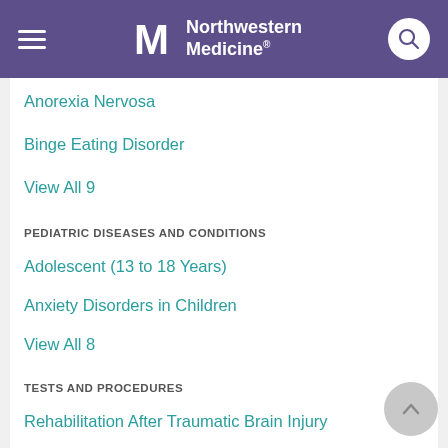Northwestern Medicine
Anorexia Nervosa
Binge Eating Disorder
View All 9
PEDIATRIC DISEASES AND CONDITIONS
Adolescent (13 to 18 Years)
Anxiety Disorders in Children
View All 8
TESTS AND PROCEDURES
Rehabilitation After Traumatic Brain Injury
ARTICLES
Boosting Your Mental Health